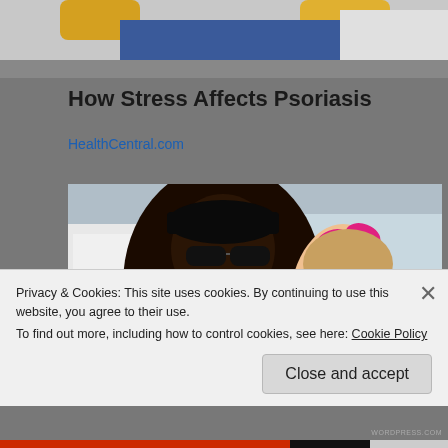[Figure (photo): Partial photo at top showing yellow gloves and jeans on gray background]
How Stress Affects Psoriasis
HealthCentral.com
[Figure (photo): Photo of a smiling Black man wearing a black cap and sunglasses posing with a young girl with a pink bow in her hair, outdoors near a white vehicle with green grass in background]
Privacy & Cookies: This site uses cookies. By continuing to use this website, you agree to their use.
To find out more, including how to control cookies, see here: Cookie Policy
Close and accept